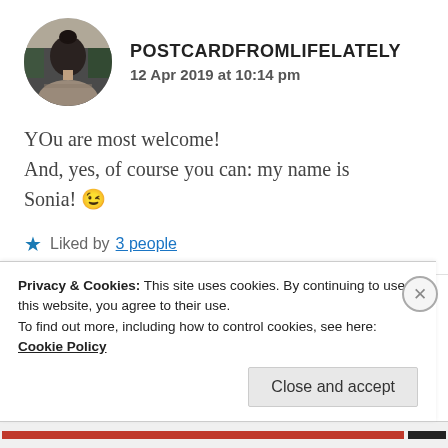[Figure (photo): Circular avatar photo of a person seen from behind with dark hair up, outdoors with dark background]
POSTCARDFROMLIFELATELY
12 Apr 2019 at 10:14 pm
YOu are most welcome!
And, yes, of course you can: my name is Sonia! 😉
Liked by 3 people
Privacy & Cookies: This site uses cookies. By continuing to use this website, you agree to their use.
To find out more, including how to control cookies, see here: Cookie Policy
Close and accept